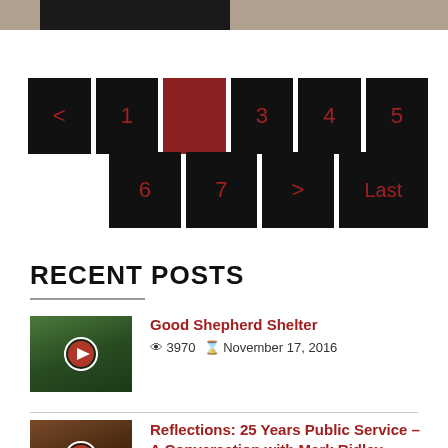[Figure (screenshot): Top image strip showing partial dark header image]
[Figure (infographic): Pagination navigation with buttons: < 1 2(active/red) 3 4 5 and second row 6 7 > Last, all on black backgrounds with dark red text]
RECENT POSTS
[Figure (photo): Thumbnail image of Good Shepherd Shelter with play button overlay, showing outdoor scene with teal/green fence]
Good Shepherd Shelter
3970   November 17, 2016
[Figure (photo): Thumbnail image for Reflections article with play button overlay, showing indoor scene]
Reflections: 25 Years Public Service – A Conversation with Mark Ridley-